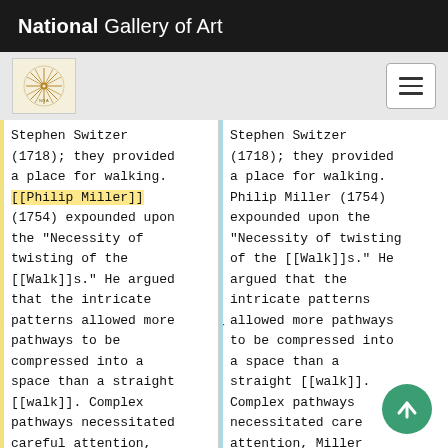National Gallery of Art
Stephen Switzer (1718); they provided a place for walking. [[Philip Miller]] (1754) expounded upon the “Necessity of twisting of the [[Walk]]s.” He argued that the intricate patterns allowed more pathways to be compressed into a space than a straight [[walk]]. Complex pathways necessitated careful attention, Miller explained, to
Stephen Switzer (1718); they provided a place for walking. Philip Miller (1754) expounded upon the “Necessity of twisting of the [[Walk]]s.” He argued that the intricate patterns allowed more pathways to be compressed into a space than a straight [[walk]]. Complex pathways necessitated careful attention, Miller explained, to the